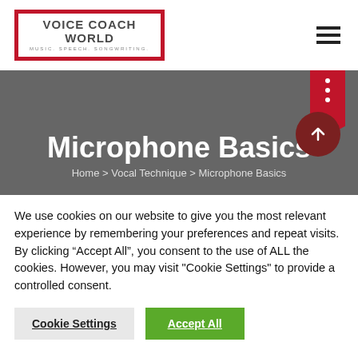[Figure (logo): Voice Coach World logo with red border. Text: VOICE COACH WORLD, MUSIC. SPEECH. SONGWRITING.]
[Figure (other): Hamburger menu icon (three horizontal lines)]
Microphone Basics
Home  >  Vocal Technique  >  Microphone Basics
We use cookies on our website to give you the most relevant experience by remembering your preferences and repeat visits. By clicking “Accept All”, you consent to the use of ALL the cookies. However, you may visit "Cookie Settings" to provide a controlled consent.
Cookie Settings
Accept All